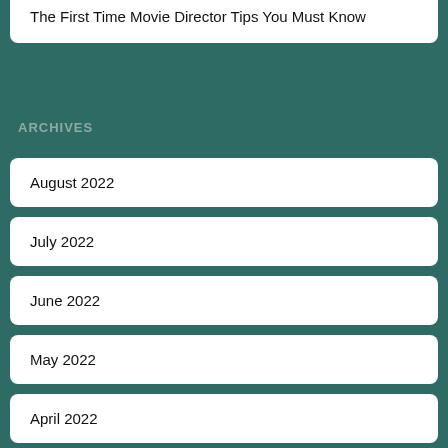The First Time Movie Director Tips You Must Know
ARCHIVES
August 2022
July 2022
June 2022
May 2022
April 2022